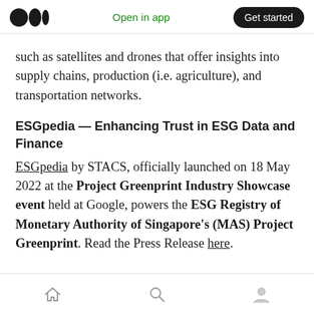Open in app | Get started
such as satellites and drones that offer insights into supply chains, production (i.e. agriculture), and transportation networks.
ESGpedia — Enhancing Trust in ESG Data and Finance
ESGpedia by STACS, officially launched on 18 May 2022 at the Project Greenprint Industry Showcase event held at Google, powers the ESG Registry of Monetary Authority of Singapore's (MAS) Project Greenprint. Read the Press Release here.
Home | Search | Profile